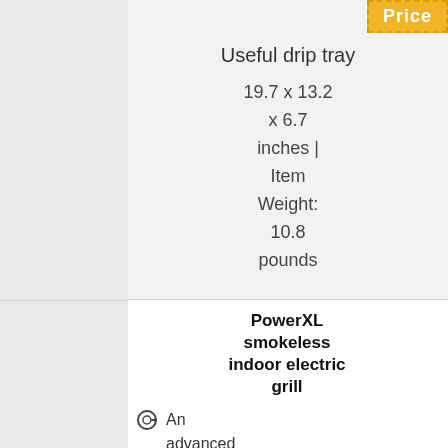Useful drip tray
19.7 x 13.2 x 6.7 inches | Item Weight: 10.8 pounds
PowerXL smokeless indoor electric grill
An advanced temperature